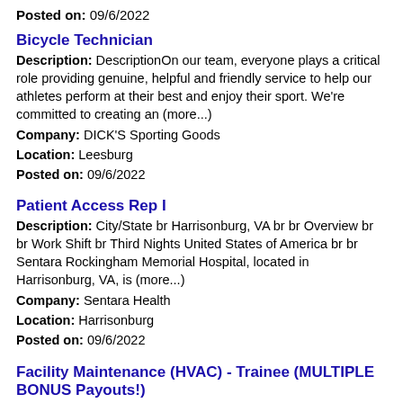Posted on: 09/6/2022
Bicycle Technician
Description: DescriptionOn our team, everyone plays a critical role providing genuine, helpful and friendly service to help our athletes perform at their best and enjoy their sport. We're committed to creating an (more...)
Company: DICK'S Sporting Goods
Location: Leesburg
Posted on: 09/6/2022
Patient Access Rep I
Description: City/State br Harrisonburg, VA br br Overview br br Work Shift br Third Nights United States of America br br Sentara Rockingham Memorial Hospital, located in Harrisonburg, VA, is (more...)
Company: Sentara Health
Location: Harrisonburg
Posted on: 09/6/2022
Facility Maintenance (HVAC) - Trainee (MULTIPLE BONUS Payouts!)
Description: Job Summary Under moderate supervision, plan, organize, and design the most efficient and cost-effective layout of